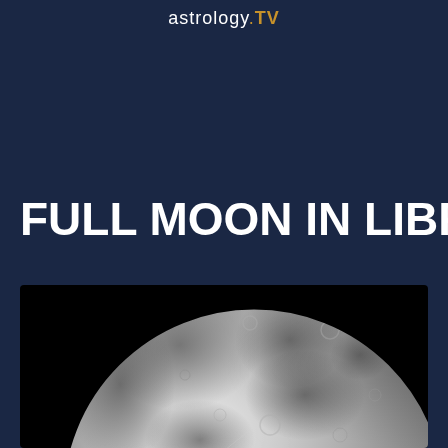astrology.TV
FULL MOON IN LIBRA
[Figure (photo): Close-up photograph of a full moon against a black background, showing detailed lunar surface with craters and maria. The moon is cropped showing mostly the upper-left portion of the lunar disc.]